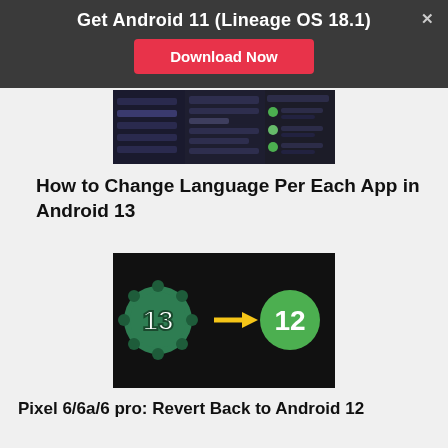Get Android 11 (Lineage OS 18.1)
Download Now
[Figure (screenshot): Android settings screenshot showing system settings menu in dark mode]
How to Change Language Per Each App in Android 13
[Figure (illustration): Android 13 badge with arrow pointing to Android 12 badge on dark background]
Pixel 6/6a/6 pro: Revert Back to Android 12